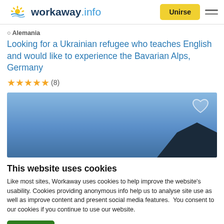workaway.info — Unirse — Menu
📍 Alemania
Looking for a Ukrainian refugee who teaches English and would like to experience the Bavarian Alps, Germany
★★★★★ (8)
[Figure (photo): Photo of a building rooftop against a blue sky background, with a heart icon in the upper right corner]
This website uses cookies
Like most sites, Workaway uses cookies to help improve the website's usability. Cookies providing anonymous info help us to analyse site use as well as improve content and present social media features.  You consent to our cookies if you continue to use our website.
OK   Settings ▾